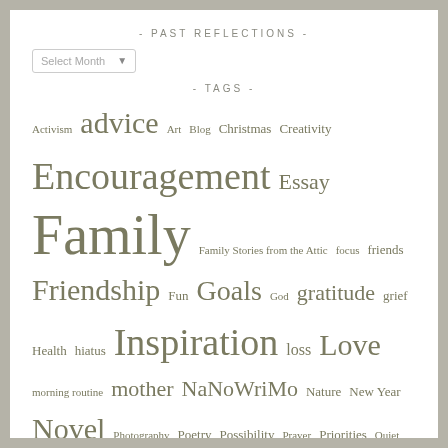- PAST REFLECTIONS -
[Figure (other): Dropdown select box labeled 'Select Month']
- TAGS -
Activism advice Art Blog Christmas Creativity Encouragement Essay Family Family Stories from the Attic focus friends Friendship Fun Goals God gratitude grief Health hiatus Inspiration loss Love morning routine mother NaNoWriMo Nature New Year Novel Photography Poetry Possibility Prayer Priorities Quiet Quote Reading Relationships retreat Ritual Sharing Social media summer Thanksgiving Travel Walking Women Work Writers Writing